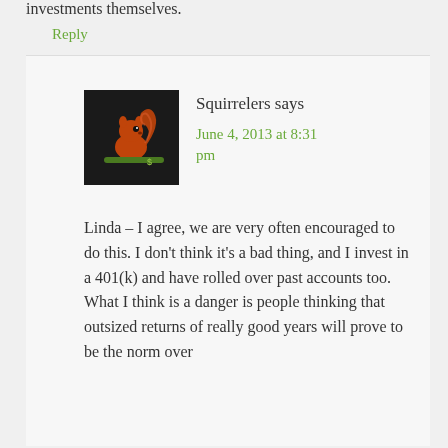investments themselves.
Reply
Squirrelers says
June 4, 2013 at 8:31 pm
[Figure (illustration): Avatar image of a cartoon squirrel on a branch on a dark background]
Linda – I agree, we are very often encouraged to do this. I don't think it's a bad thing, and I invest in a 401(k) and have rolled over past accounts too. What I think is a danger is people thinking that outsized returns of really good years will prove to be the norm over